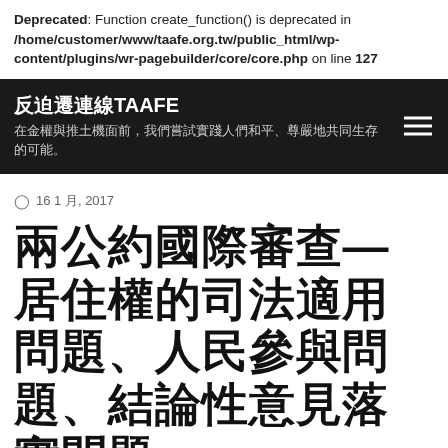Deprecated: Function create_function() is deprecated in /home/customer/www/taafe.org.tw/public_html/wp-content/plugins/wr-pagebuilder/core/core.php on line 127
反迫遷連線TAAFE
在金權與推土機面前，我們嘗試實踐人們和平、尊嚴地共同生存的可能。
16 1 月, 2017
兩公約國際審查—居住權的司法適用問題、人民參與問題、結論性意見落實問題